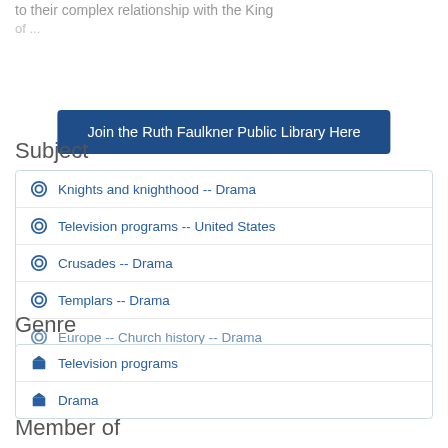to their complex relationship with the King of...
Join the Ruth Faulkner Public Library Here
Subject
Knights and knighthood -- Drama
Television programs -- United States
Crusades -- Drama
Templars -- Drama
Europe -- Church history -- Drama
Genre
Television programs
Drama
Member of